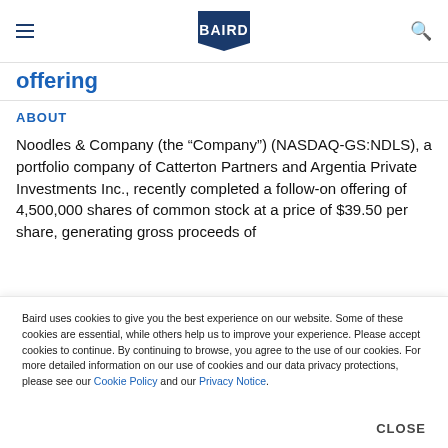BAIRD
offering
ABOUT
Noodles & Company (the “Company”) (NASDAQ-GS:NDLS), a portfolio company of Catterton Partners and Argentia Private Investments Inc., recently completed a follow-on offering of 4,500,000 shares of common stock at a price of $39.50 per share, generating gross proceeds of
Baird uses cookies to give you the best experience on our website. Some of these cookies are essential, while others help us to improve your experience. Please accept cookies to continue. By continuing to browse, you agree to the use of our cookies. For more detailed information on our use of cookies and our data privacy protections, please see our Cookie Policy and our Privacy Notice.